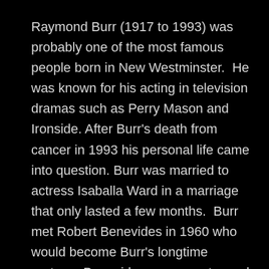Raymond Burr (1917 to 1993) was probably one of the most famous people born in New Westminster.  He was known for his acting in television dramas such as Perry Mason and Ironside. After Burr's death from cancer in 1993 his personal life came into question. Burr was married to actress Isaballa Ward in a marriage that only lasted a few months.  Burr met Robert Benevides in 1960 who would become Burr's longtime partner.  Benevides was an actor and a veteran of the Korean War.  The relationship lasted until Burr's death in 1993.  While Burr had never revealed his homosexuality during his lifetime, it was an open secret.